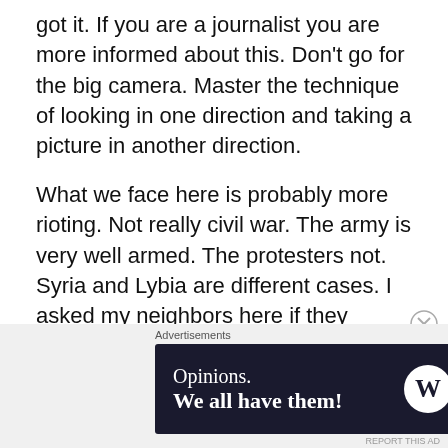got it. If you are a journalist you are more informed about this. Don't go for the big camera. Master the technique of looking in one direction and taking a picture in another direction.
What we face here is probably more rioting. Not really civil war. The army is very well armed. The protesters not. Syria and Lybia are different cases. I asked my neighbors here if they noticed anything different since the protests. And they noticed nothing. Violence always makes the news. But it's in one part of town. People naturally think the whole country is that way. I remember the armed police went to Disneyland. It was heavy handed. You can spin it anyway. Here it's bad, they killed a lot of people.
[Figure (other): Advertisement banner with text 'Opinions. We all have them!' and WordPress and another logo on dark navy background]